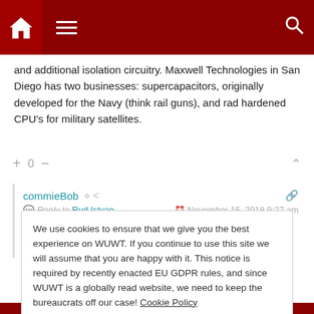WUWT navigation bar with home, menu, and search icons
and additional isolation circuitry. Maxwell Technologies in San Diego has two businesses: supercapacitors, originally developed for the Navy (think rail guns), and rad hardened CPU's for military satellites.
+ 0 −
commieBob  Reply to Rud Istvan  November 15, 2018 9:27 am
When I started in the industry in the 1970s, it seemed to me
We use cookies to ensure that we give you the best experience on WUWT. If you continue to use this site we will assume that you are happy with it. This notice is required by recently enacted EU GDPR rules, and since WUWT is a globally read website, we need to keep the bureaucrats off our case! Cookie Policy
Close and accept